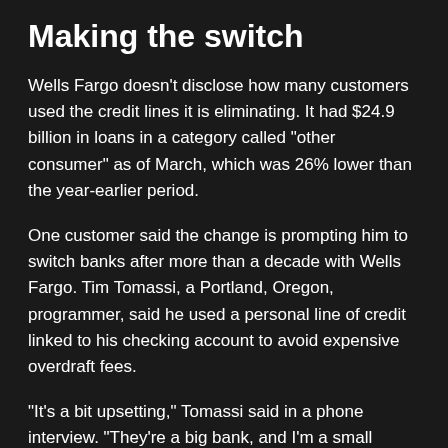Making the switch
Wells Fargo doesn't disclose how many customers used the credit lines it is eliminating. It had $24.9 billion in loans in a category called "other consumer" as of March, which was 26% lower than the year-earlier period.
One customer said the change is prompting him to switch banks after more than a decade with Wells Fargo. Tim Tomassi, a Portland, Oregon, programmer, said he used a personal line of credit linked to his checking account to avoid expensive overdraft fees.
"It's a bit upsetting," Tomassi said in a phone interview. "They're a big bank, and I'm a small person, and it feels like they're making decisions for their bottom line and not for customers. A lot of people are in my position, they need a